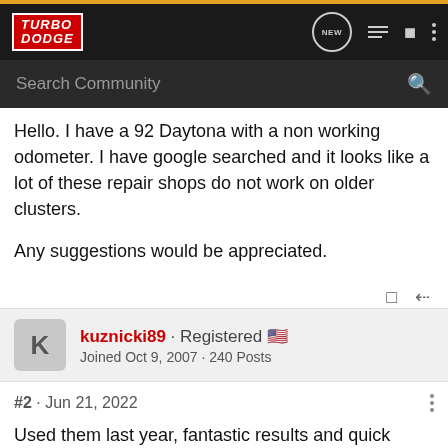TurboDodge forum header with logo, new posts, list, profile, and menu icons
Search Community
Hello. I have a 92 Daytona with a non working odometer. I have google searched and it looks like a lot of these repair shops do not work on older clusters.

Any suggestions would be appreciated.
kuznicki89 · Registered 🇺🇸
Joined Oct 9, 2007 · 240 Posts
#2 · Jun 21, 2022
Used them last year, fantastic results and quick turnaround